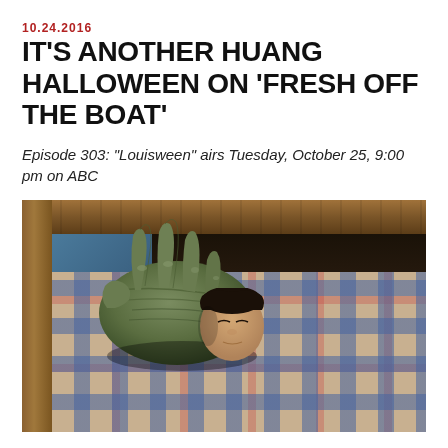10.24.2016
IT'S ANOTHER HUANG HALLOWEEN ON 'FRESH OFF THE BOAT'
Episode 303: "Louisween" airs Tuesday, October 25, 9:00 pm on ABC
[Figure (photo): A sleeping child in a bunk bed with plaid covers, with a large green monster/creature hand looming over them from above, in a dark wooden bunk bed setting.]